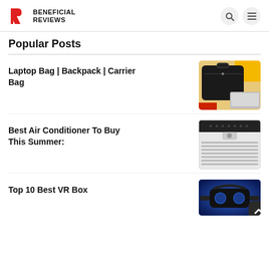BENEFICIAL REVIEWS
Popular Posts
Laptop Bag | Backpack | Carrier Bag
[Figure (photo): Black laptop bag/backpack with a laptop on wooden surface with colorful accents]
Best Air Conditioner To Buy This Summer:
[Figure (photo): White window air conditioner unit with horizontal vents and control panel]
Top 10 Best VR Box
[Figure (photo): VR headset with blue glowing background]